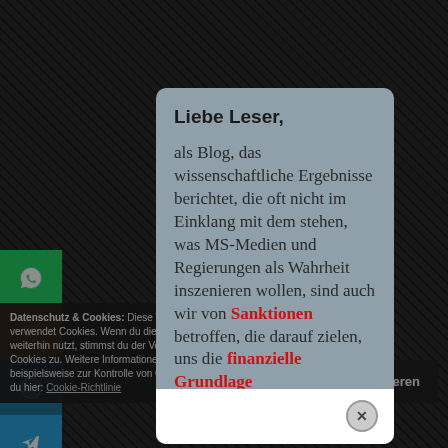[Figure (screenshot): Dark website background with diagonal crosshatch pattern]
[Figure (screenshot): Social media share buttons sidebar: WhatsApp (green), Blogger (orange), WordPress (blue), Telegram (light blue), Flipboard (red), Goodreads (brown), Share (orange)]
Liebe Leser,

als Blog, das wissenschaftliche Ergebnisse berichtet, die oft nicht im Einklang mit dem stehen, was MS-Medien und Regierungen als Wahrheit inszenieren wollen, sind auch wir von Sanktionen betroffen, die darauf zielen, uns die finanzielle Grundlage zu entziehen.
Datenschutz & Cookies: Diese Website verwendet Cookies. Wenn du die Website weiterhin nutzt, stimmst du der Verwendung von Cookies zu. Weitere Informationen, beispielsweise zur Kontrolle von Cookies, findest du hier: Cookie-Richtlinie
und akzeptieren